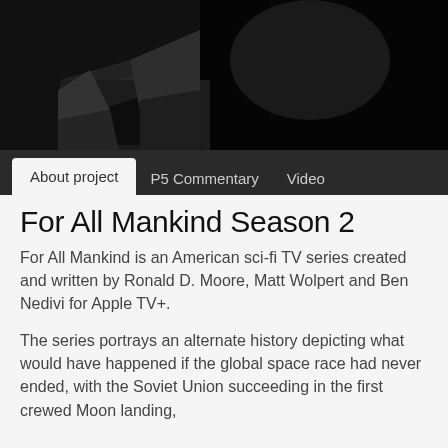[Figure (photo): Dark grayscale hero image showing a rocky lunar or planetary surface scene with shadowy terrain and a dark sky]
About project | P5 Commentary | Video
For All Mankind Season 2
For All Mankind is an American sci-fi TV series created and written by Ronald D. Moore, Matt Wolpert and Ben Nedivi for Apple TV+.
The series portrays an alternate history depicting what would have happened if the global space race had never ended, with the Soviet Union succeeding in the first crewed Moon landing,